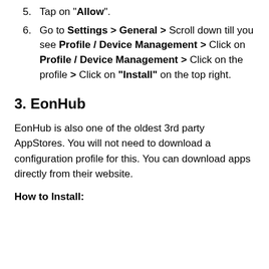5. Tap on "Allow".
6. Go to Settings > General > Scroll down till you see Profile / Device Management > Click on Profile / Device Management > Click on the profile > Click on "Install" on the top right.
3. EonHub
EonHub is also one of the oldest 3rd party AppStores. You will not need to download a configuration profile for this. You can download apps directly from their website.
How to Install: